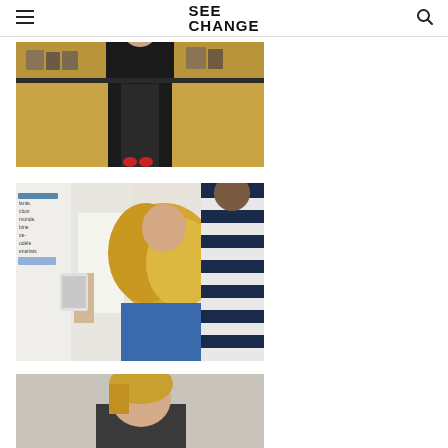SEE CHANGE
[Figure (photo): Person standing behind a table draped with black and tan/gold tablecloths, books visible on the table, person wearing dark skirt and red shoes]
[Figure (photo): Group of people at what appears to be a conference or event; woman with curly blonde hair seen from behind holding a tablet/iPad, person in navy blue and white striped shirt, partial banner visible on the left with French text]
[Figure (photo): Woman with blonde hair seated, partially cropped at bottom of page]